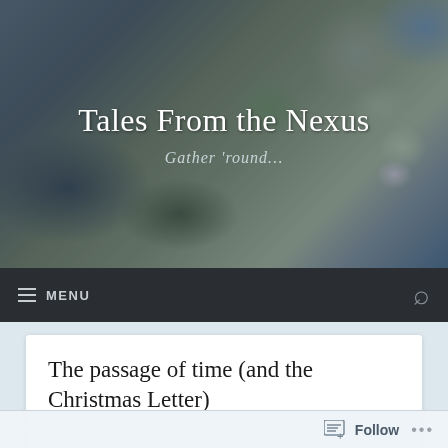Tales From the Nexus
Gather 'round...
The passage of time (and the Christmas Letter)
I meandered out into the woods this afternoon, a